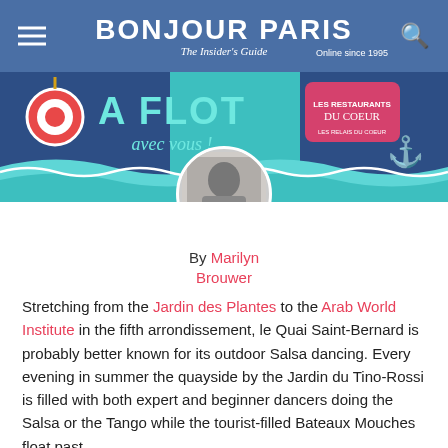BONJOUR PARIS — The Insider's Guide — Online since 1995
[Figure (illustration): Colorful banner image with teal and dark blue background showing text 'A FLOT avec vous!' with a life preserver ring, restaurant du coeur logo, and anchor icon, with wavy water graphics]
[Figure (photo): Circular author photo of Marilyn Brouwer showing a black and white ID card style photo]
By Marilyn Brouwer
Stretching from the Jardin des Plantes to the Arab World Institute in the fifth arrondissement, le Quai Saint-Bernard is probably better known for its outdoor Salsa dancing. Every evening in summer the quayside by the Jardin du Tino-Rossi is filled with both expert and beginner dancers doing the Salsa or the Tango while the tourist-filled Bateaux Mouches float past. The...